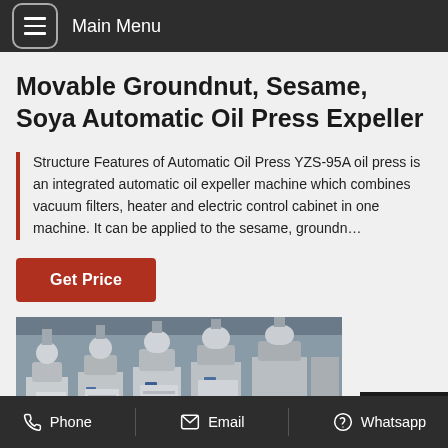Main Menu
Movable Groundnut, Sesame, Soya Automatic Oil Press Expeller
Structure Features of Automatic Oil Press YZS-95A oil press is an integrated automatic oil expeller machine which combines vacuum filters, heater and electric control cabinet in one machine. It can be applied to the sesame, groundn…
Get Price
[Figure (photo): Industrial oil press expeller machines in a factory setting, showing multiple large white/grey machines with cylindrical components and mechanical assemblies]
Phone   Email   Whatsapp